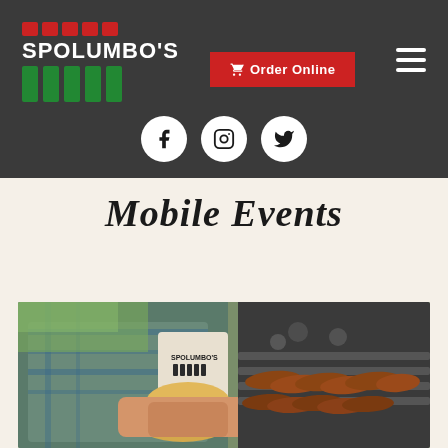[Figure (screenshot): Spolumbo's website header with dark grey background. Contains the Spolumbo's logo (white text with red squares above and green bars below), an Order Online button in red, a hamburger menu icon, and three social media icons (Facebook, Instagram, Twitter) in white circles.]
Mobile Events
[Figure (photo): Person holding a Spolumbo's branded bag and a bun/sausage sandwich near a BBQ grill with sausages cooking on it, outdoors with green grass in background.]